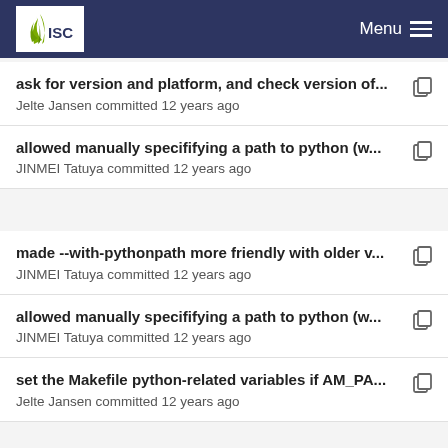ISC Menu
ask for version and platform, and check version of... — Jelte Jansen committed 12 years ago
allowed manually specififying a path to python (w... — JINMEI Tatuya committed 12 years ago
made --with-pythonpath more friendly with older v... — JINMEI Tatuya committed 12 years ago
allowed manually specififying a path to python (w... — JINMEI Tatuya committed 12 years ago
set the Makefile python-related variables if AM_PA... — Jelte Jansen committed 12 years ago
made --with-pythonpath more friendly with older v... — JINMEI Tatuya committed 12 years ago